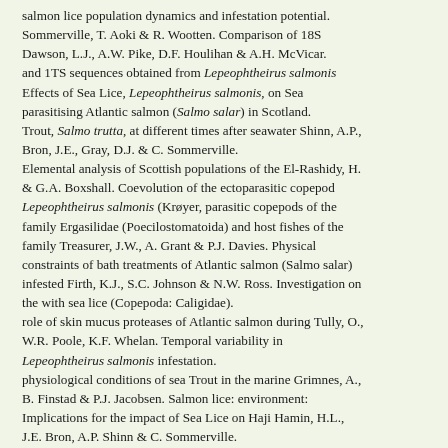salmon lice population dynamics and infestation potential. Sommerville, T. Aoki & R. Wootten. Comparison of 18S Dawson, L.J., A.W. Pike, D.F. Houlihan & A.H. McVicar. and 1TS sequences obtained from Lepeophtheirus salmonis Effects of Sea Lice, Lepeophtheirus salmonis, on Sea parasitising Atlantic salmon (Salmo salar) in Scotland. Trout, Salmo trutta, at different times after seawater Shinn, A.P., Bron, J.E., Gray, D.J. & C. Sommerville. Elemental analysis of Scottish populations of the El-Rashidy, H. & G.A. Boxshall. Coevolution of the ectoparasitic copepod Lepeophtheirus salmonis (Krøyer, parasitic copepods of the family Ergasilidae (Poecilostomatoida) and host fishes of the family Treasurer, J.W., A. Grant & P.J. Davies. Physical constraints of bath treatments of Atlantic salmon (Salmo salar) infested Firth, K.J., S.C. Johnson & N.W. Ross. Investigation on the with sea lice (Copepoda: Caligidae). role of skin mucus proteases of Atlantic salmon during Tully, O., W.R. Poole, K.F. Whelan. Temporal variability in Lepeophtheirus salmonis infestation. physiological conditions of sea Trout in the marine Grimnes, A., B. Finstad & P.J. Jacobsen. Salmon lice: environment: Implications for the impact of Sea Lice on Haji Hamin, H.L., J.E. Bron, A.P. Shinn & C. Sommerville. Tully, O., P. Gargan, W.R. Poole, K.F. Whelan. Spatial and The occurrence of blood feeding in Lepeophtheirus temporal variation in Sea Lice infestation of Sea Trout in Hull, M.Q., A.W. Pike, A.J. Mordue & G.H. Rae. Should I Vikeså, V. & K. Boxaspen. The effects of salinity and stay or should I go? New on- and off- host parasite data temperature on early life stages of salmon lice Lepeophtheirus salmonis.